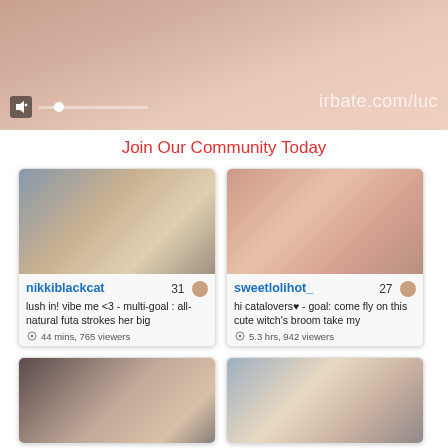[Figure (screenshot): Video player thumbnail showing skin-toned background with watermark text 'irbate.com/luc' and mute/progress bar controls at bottom left]
Join Our Community Today
[Figure (screenshot): Webcam thumbnail card for user nikkiblackcat, count 31. Description: lush in! vibe me <3 - multi-goal : all-natural futa strokes her big. 44 mins, 765 viewers]
[Figure (screenshot): Webcam thumbnail card for user sweetlolihot_, count 27. Description: hi catalovers♥ - goal: come fly on this cute witch's broom take my. 5.3 hrs, 942 viewers]
[Figure (screenshot): Webcam thumbnail card, bottom left, partially visible]
[Figure (screenshot): Webcam thumbnail card, bottom right, partially visible]